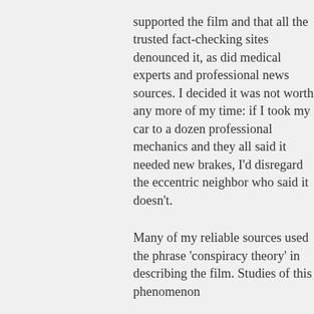supported the film and that all the trusted fact-checking sites denounced it, as did medical experts and professional news sources. I decided it was not worth any more of my time: if I took my car to a dozen professional mechanics and they all said it needed new brakes, I'd disregard the eccentric neighbor who said it doesn't.
Many of my reliable sources used the phrase 'conspiracy theory' in describing the film. Studies of this phenomenon date back to the 10th...